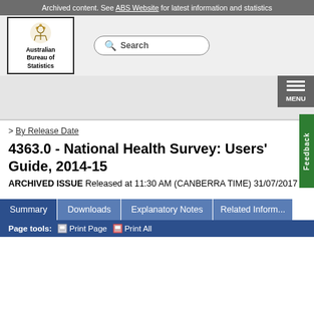Archived content. See ABS Website for latest information and statistics
[Figure (logo): Australian Bureau of Statistics logo with coat of arms crest and text inside a bordered box]
Search
MENU
Feedback
> By Release Date
4363.0 - National Health Survey: Users' Guide, 2014-15
ARCHIVED ISSUE Released at 11:30 AM (CANBERRA TIME) 31/07/2017
Summary
Downloads
Explanatory Notes
Related Inform...
Page tools:  Print Page   Print All